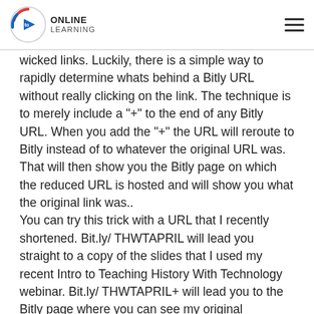Online Learning
wicked links. Luckily, there is a simple way to rapidly determine whats behind a Bitly URL without really clicking on the link. The technique is to merely include a "+" to the end of any Bitly URL. When you add the "+" the URL will reroute to Bitly instead of to whatever the original URL was. That will then show you the Bitly page on which the reduced URL is hosted and will show you what the original link was..
You can try this trick with a URL that I recently shortened. Bit.ly/ THWTAPRIL will lead you straight to a copy of the slides that I used my recent Intro to Teaching History With Technology webinar. Bit.ly/ THWTAPRIL+ will lead you to the Bitly page where you can see my original discussion URL and see when I developed the reduced URL..
View this short video to see how you can utilize the "+"